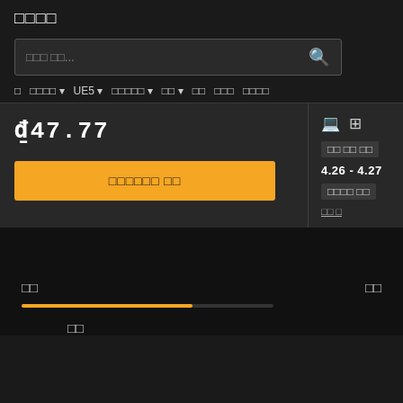□□□□
검색 입력...
□ □□□□▾ UE5▾ □□□□□▾ □□▾ □□ □□□ □□□□
₫47.77
□□□□□□ □□
□□ □□ □□
4.26 - 4.27
□□□□ □□
□□ □
□□
□□
□□